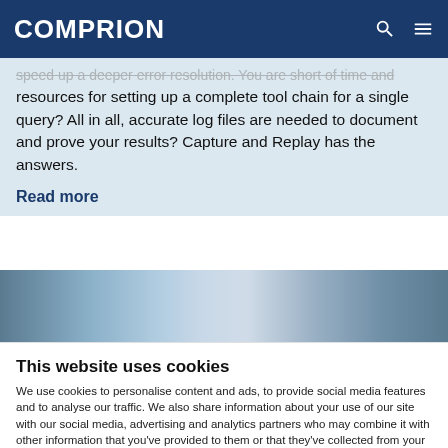COMPRION
speed up a deeper error resolution. You are short of time and resources for setting up a complete tool chain for a single query? All in all, accurate log files are needed to document and prove your results? Capture and Replay has the answers.
Read more
[Figure (photo): Blurry industrial or laboratory equipment, partial view of metallic/glass components against a light background with dark cable on right]
This website uses cookies
We use cookies to personalise content and ads, to provide social media features and to analyse our traffic. We also share information about your use of our site with our social media, advertising and analytics partners who may combine it with other information that you've provided to them or that they've collected from your use of their services. You consent to our cookies if you continue to use our website.
Use necessary cookies only
Allow all cookies
Show details